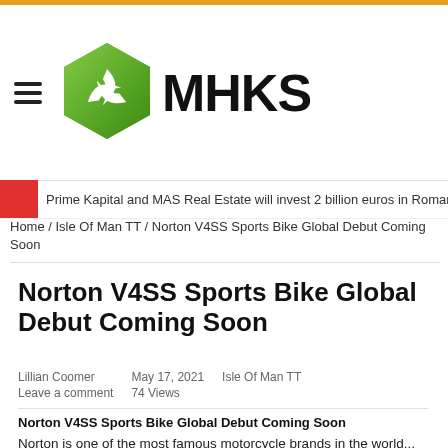MHKS
Prime Kapital and MAS Real Estate will invest 2 billion euros in Romania by 2
Home / Isle Of Man TT / Norton V4SS Sports Bike Global Debut Coming Soon
Norton V4SS Sports Bike Global Debut Coming Soon
Lillian Coomer   May 17, 2021   Isle Of Man TT
Leave a comment   74 Views
Norton V4SS Sports Bike Global Debut Coming Soon
Norton is one of the most famous motorcycle brands in the world...